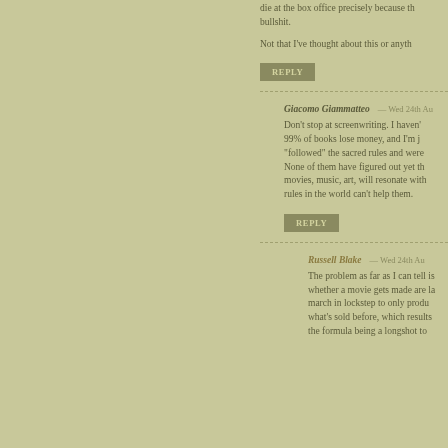die at the box office precisely because th bullshit.
Not that I've thought about this or anyth
REPLY
Giacomo Giammatteo — Wed 24th Au
Don't stop at screenwriting. I haven't 99% of books lose money, and I'm j "followed" the sacred rules and were None of them have figured out yet th movies, music, art, will resonate with rules in the world can't help them.
REPLY
Russell Blake — Wed 24th Au
The problem as far as I can tell is whether a movie gets made are la march in lockstep to only produ what's sold before, which results the formula being a longshot to